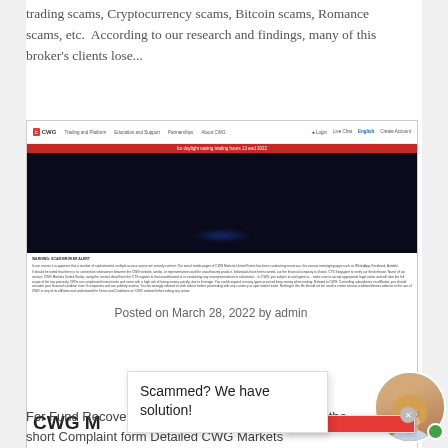trading scams, Cryptocurrency scams, Bitcoin scams, Romance scams, etc. According to our research and findings, many of this broker's clients lose...
[Figure (screenshot): Screenshot of CWG Markets broker website showing navigation bar with CWG logo, Trading and Platform, Education and Support, Partnerships, About CWG links, a red banner, dark hero section, and text content below. Overlaid with a chat popup and 'Scammed? We have solution!' popup window.]
CWG M
Posted on March 28, 2022 by admin
For Fund Recovery from CWG Markets Broker – Fill the short Complaint form Detailed CWG Markets